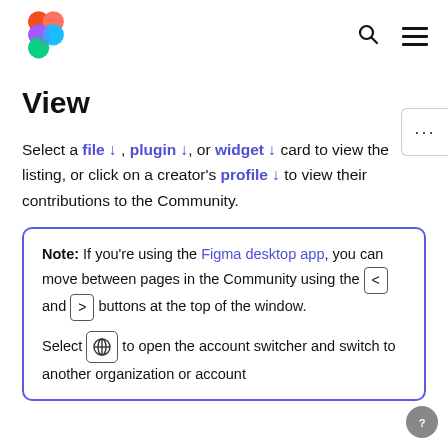[Figure (logo): Figma logo with colorful overlapping circles in red, pink, purple, blue, and green]
View
Select a file ↓ , plugin ↓, or widget ↓ card to view the listing, or click on a creator's profile ↓ to view their contributions to the Community.
Note: If you're using the Figma desktop app, you can move between pages in the Community using the < and > buttons at the top of the window. Select [globe icon] to open the account switcher and switch to another organization or account.